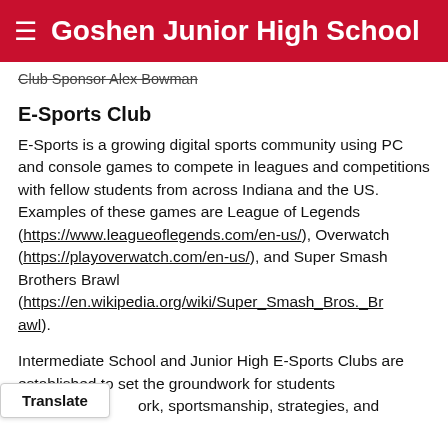Goshen Junior High School
Club Sponsor Alex Bowman
E-Sports Club
E-Sports is a growing digital sports community using PC and console games to compete in leagues and competitions with fellow students from across Indiana and the US. Examples of these games are League of Legends (https://www.leagueoflegends.com/en-us/), Overwatch (https://playoverwatch.com/en-us/), and Super Smash Brothers Brawl (https://en.wikipedia.org/wiki/Super_Smash_Bros._Brawl).
Intermediate School and Junior High E-Sports Clubs are established to set the groundwork for students work, sportsmanship, strategies, and